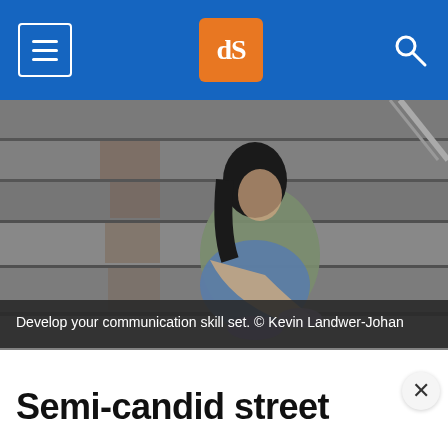dPS navigation header with hamburger menu, dPS logo, and search icon
[Figure (photo): A young woman with long dark hair sitting on concrete steps/stairs, hugging her knees, wearing a green/khaki jacket, blue jeans, and purple canvas sneakers. The stairs are weathered grey concrete. The photo is desaturated/moody in tone.]
Develop your communication skill set. © Kevin Landwer-Johan
Semi-candid street